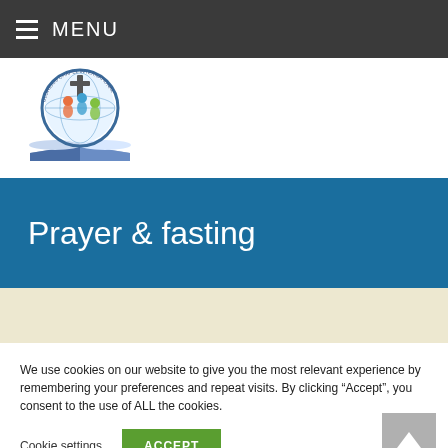MENU
[Figure (logo): Glorious Chapel International circular logo with colorful figures and cross on an open book]
Prayer & fasting
We use cookies on our website to give you the most relevant experience by remembering your preferences and repeat visits. By clicking “Accept”, you consent to the use of ALL the cookies.
Cookie settings  ACCEPT